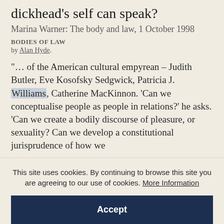dickhead's self can speak?
Marina Warner: The body and law, 1 October 1998
Bodies of Law
by Alan Hyde.
“… of the American cultural empyrean – Judith Butler, Eve Kosofsky Sedgwick, Patricia J. Williams, Catherine MacKinnon. ‘Can we conceptualise people as people in relations?’ he asks. ‘Can we create a bodily discourse of pleasure, or sexuality? Can we develop a constitutional jurisprudence of how we
This site uses cookies. By continuing to browse this site you are agreeing to our use of cookies. More Information
Accept